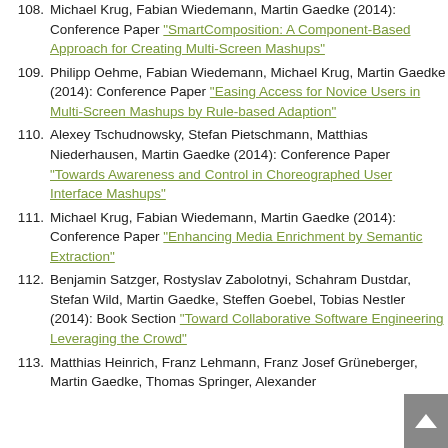108. Michael Krug, Fabian Wiedemann, Martin Gaedke (2014): Conference Paper "SmartComposition: A Component-Based Approach for Creating Multi-Screen Mashups"
109. Philipp Oehme, Fabian Wiedemann, Michael Krug, Martin Gaedke (2014): Conference Paper "Easing Access for Novice Users in Multi-Screen Mashups by Rule-based Adaption"
110. Alexey Tschudnowsky, Stefan Pietschmann, Matthias Niederhausen, Martin Gaedke (2014): Conference Paper "Towards Awareness and Control in Choreographed User Interface Mashups"
111. Michael Krug, Fabian Wiedemann, Martin Gaedke (2014): Conference Paper "Enhancing Media Enrichment by Semantic Extraction"
112. Benjamin Satzger, Rostyslav Zabolotnyi, Schahram Dustdar, Stefan Wild, Martin Gaedke, Steffen Goebel, Tobias Nestler (2014): Book Section "Toward Collaborative Software Engineering Leveraging the Crowd"
113. Matthias Heinrich, Franz Lehmann, Franz Josef Grüneberger, Martin Gaedke, Thomas Springer, Alexander